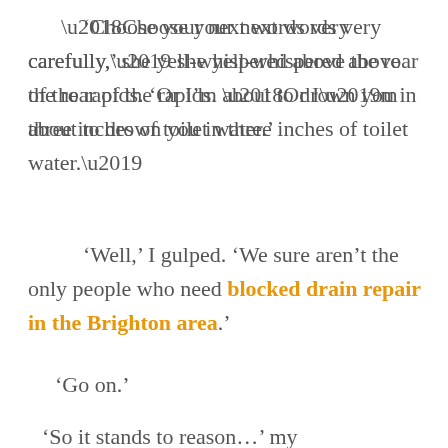‘Choose your next words very carefully,’ she yell-whispered above the roar of the rapids. ‘Or I’m about to drown you in three inches of toilet water.’
‘Well,’ I gulped. ‘We sure aren’t the only people who need blocked drain repair in the Brighton area.’
‘Go on.’
‘So it stands to reason…’ my